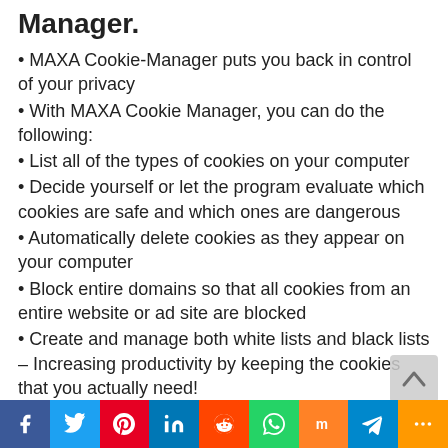Manager.
• MAXA Cookie-Manager puts you back in control of your privacy
• With MAXA Cookie Manager, you can do the following:
• List all of the types of cookies on your computer
• Decide yourself or let the program evaluate which cookies are safe and which ones are dangerous
• Automatically delete cookies as they appear on your computer
• Block entire domains so that all cookies from an entire website or ad site are blocked
• Create and manage both white lists and black lists – Increasing productivity by keeping the cookies that you actually need!
• Delete Cache and History, this efficiently allows you to also get rid of Evercookies and Etag